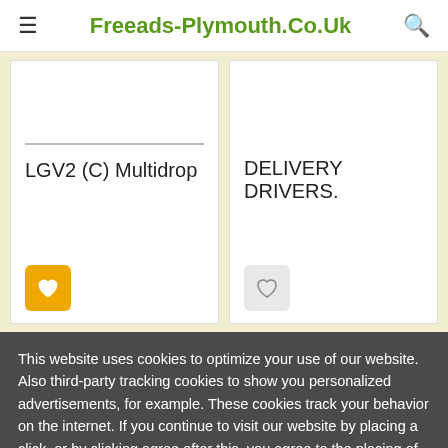Freeads-Plymouth.Co.Uk
LGV2 (C) Multidrop
DELIVERY DRIVERS.
This website uses cookies to optimize your use of our website. Also third-party tracking cookies to show you personalized advertisements, for example. These cookies track your behavior on the internet. If you continue to visit our website by placing a click, or by clicking agree after this, you agree to the placing of cookies and the processing of the data that we and our partners obtain as a result. More information